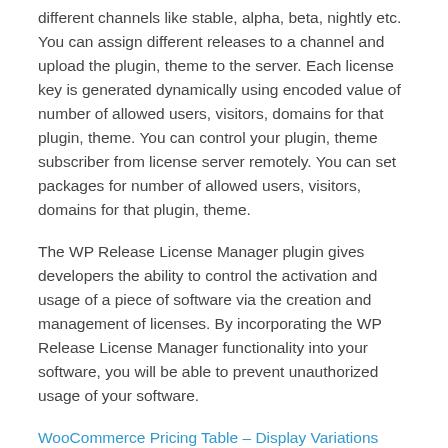different channels like stable, alpha, beta, nightly etc. You can assign different releases to a channel and upload the plugin, theme to the server. Each license key is generated dynamically using encoded value of number of allowed users, visitors, domains for that plugin, theme. You can control your plugin, theme subscriber from license server remotely. You can set packages for number of allowed users, visitors, domains for that plugin, theme.
The WP Release License Manager plugin gives developers the ability to control the activation and usage of a piece of software via the creation and management of licenses. By incorporating the WP Release License Manager functionality into your software, you will be able to prevent unauthorized usage of your software.
WooCommerce Pricing Table – Display Variations